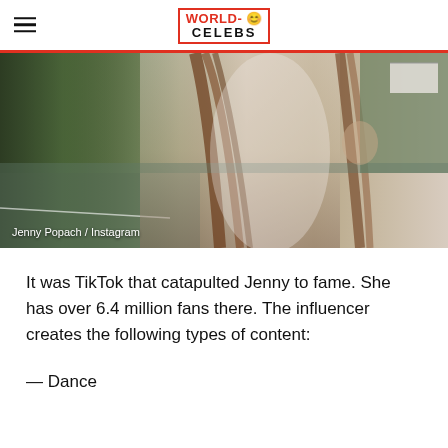WORLD-CELEBS
[Figure (photo): Jenny Popach posing outdoors on a tennis court with long brown hair, wearing a white outfit. Caption reads: Jenny Popach / Instagram]
Jenny Popach / Instagram
It was TikTok that catapulted Jenny to fame. She has over 6.4 million fans there. The influencer creates the following types of content:
— Dance